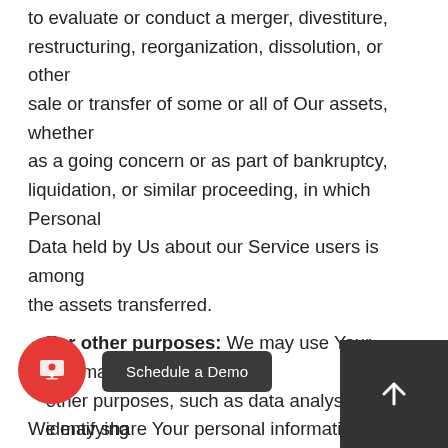For business transfers: We may use Your information to evaluate or conduct a merger, divestiture, restructuring, reorganization, dissolution, or other sale or transfer of some or all of Our assets, whether as a going concern or as part of bankruptcy, liquidation, or similar proceeding, in which Personal Data held by Us about our Service users is among the assets transferred.
For other purposes: We may use Your information for other purposes, such as data analysis, identifying usage trends, determining the effectiveness of our promotional campaigns and to evaluate and improve our Service, products, services, marke...
We may share Your personal information in the